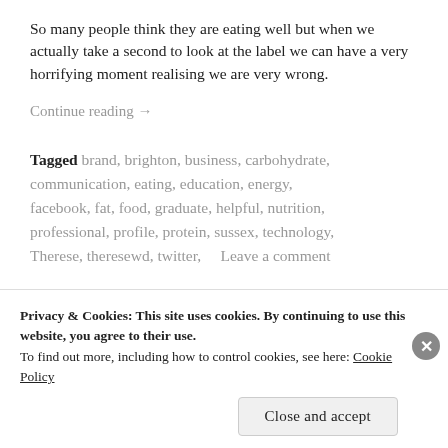So many people think they are eating well but when we actually take a second to look at the label we can have a very horrifying moment realising we are very wrong.
Continue reading →
Tagged brand, brighton, business, carbohydrate, communication, eating, education, energy, facebook, fat, food, graduate, helpful, nutrition, professional, profile, protein, sussex, technology, Therese, theresewd, twitter, Leave a comment
Privacy & Cookies: This site uses cookies. By continuing to use this website, you agree to their use. To find out more, including how to control cookies, see here: Cookie Policy
Close and accept